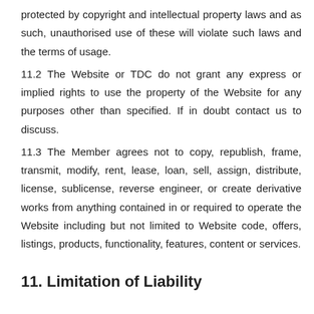protected by copyright and intellectual property laws and as such, unauthorised use of these will violate such laws and the terms of usage.
11.2 The Website or TDC do not grant any express or implied rights to use the property of the Website for any purposes other than specified. If in doubt contact us to discuss.
11.3 The Member agrees not to copy, republish, frame, transmit, modify, rent, lease, loan, sell, assign, distribute, license, sublicense, reverse engineer, or create derivative works from anything contained in or required to operate the Website including but not limited to Website code, offers, listings, products, functionality, features, content or services.
11. Limitation of Liability